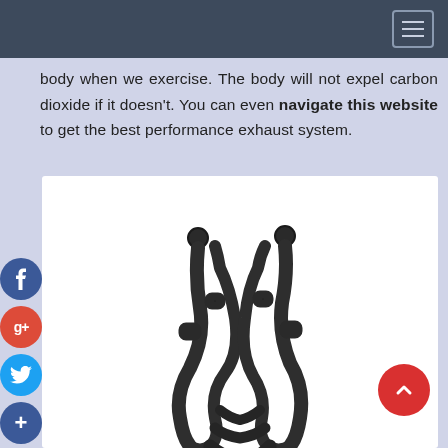Navigation bar with hamburger menu
body when we exercise. The body will not expel carbon dioxide if it doesn't. You can even navigate this website to get the best performance exhaust system.
[Figure (photo): Product photo of a performance exhaust system with dual curved pipes in dark/black finish, shown against white background]
[Figure (infographic): Social media share buttons: Facebook, Google+, Twitter, and Add (+) icons as circular buttons on the left side]
[Figure (other): Red circular scroll-to-top button with upward chevron arrow in bottom right]